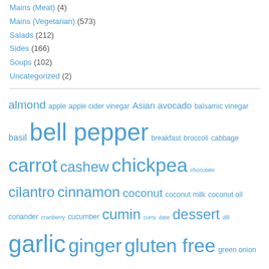Mains (Meat) (4)
Mains (Vegetarian) (573)
Salads (212)
Sides (166)
Soups (102)
Uncategorized (2)
[Figure (other): Tag cloud with food-related tags in varying sizes: almond, apple, apple cider vinegar, Asian, avocado, balsamic vinegar, basil, bell pepper, breakfast, broccoli, cabbage, carrot, cashew, chickpea, chocolate, cilantro, cinnamon, coconut, coconut milk, coconut oil, coriander, cranberry, cucumber, cumin, curry, date, dessert, dill, garlic, ginger, gluten free, green onion, Indian, Japanese, kale, lemon, lemon juice, lentil, lime, lime juice, mango, maple syrup, Mexican, Middle Eastern, mint, miso, mushroom, mustard, nut-free, nutritional yeast, onion, orange, oregano, quinoa, raw, red bell pepper, red...]